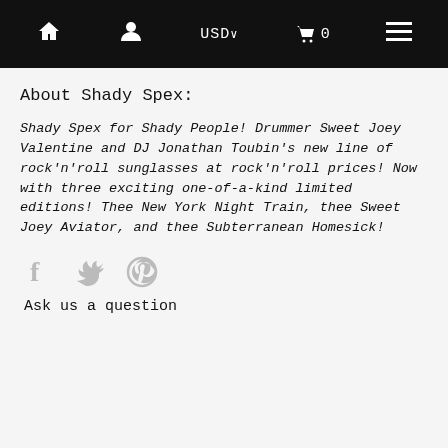🏠 👤 USD ∨ 🛒 0 ≡
About Shady Spex:
Shady Spex for Shady People! Drummer Sweet Joey Valentine and DJ Jonathan Toubin's new line of rock'n'roll sunglasses at rock'n'roll prices! Now with three exciting one-of-a-kind limited editions! Thee New York Night Train, thee Sweet Joey Aviator, and thee Subterranean Homesick!
[Figure (infographic): Social media icons: Facebook, Twitter, Pinterest]
Ask us a question